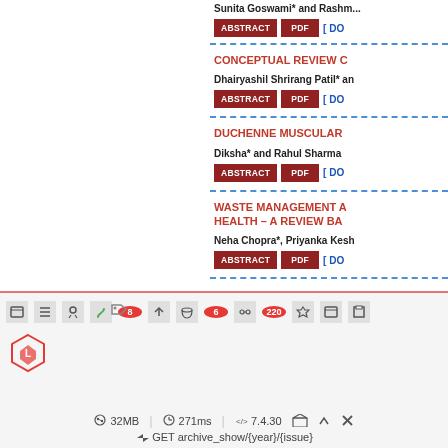Sunita Goswami* and Rashm...
CONCEPTUAL REVIEW C...
Dhairyashil Shrirang Patil* an...
DUCHENNE MUSCULAR...
Diksha* and Rahul Sharma
WASTE MANAGEMENT A... HEALTH – A REVIEW BA...
Neha Chopra*, Priyanka Kesh...
[Figure (screenshot): Developer debug toolbar showing Laravel logo, icons with badges (8, 6, 220), memory usage 32MB, time 271ms, PHP version 7.4.30, and route GET archive_show/{year}/{issue}]